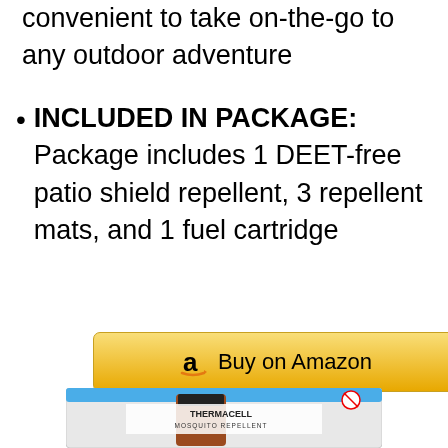convenient to take on-the-go to any outdoor adventure
INCLUDED IN PACKAGE: Package includes 1 DEET-free patio shield repellent, 3 repellent mats, and 1 fuel cartridge
[Figure (other): Buy on Amazon button with Amazon logo]
[Figure (photo): Thermacell Mosquito Repellent Patio Shield Metal product packaging photo]